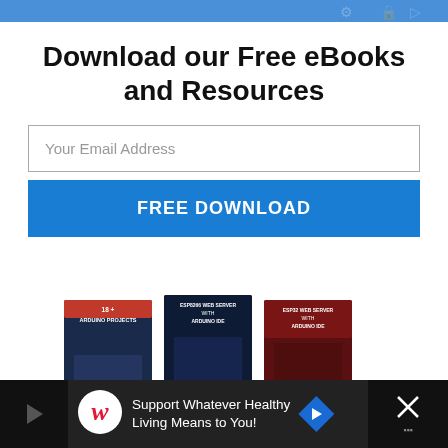Download our Free eBooks and Resources
Your Email Address
FREE DOWNLOAD
[Figure (photo): Three book covers for Arduino and ESP8266/ESP32 web server projects, plus a 'Ultimate Guide for Arduino Shields' book and an 'Arduino Mini Course' banner below]
Support Whatever Healthy Living Means to You!